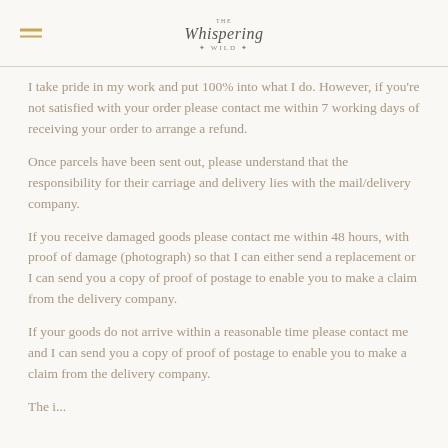The Whispering Wild
I take pride in my work and put 100% into what I do. However, if you're not satisfied with your order please contact me within 7 working days of receiving your order to arrange a refund.
Once parcels have been sent out, please understand that the responsibility for their carriage and delivery lies with the mail/delivery company.
If you receive damaged goods please contact me within 48 hours, with proof of damage (photograph) so that I can either send a replacement or I can send you a copy of proof of postage to enable you to make a claim from the delivery company.
If your goods do not arrive within a reasonable time please contact me and I can send you a copy of proof of postage to enable you to make a claim from the delivery company.
The items...